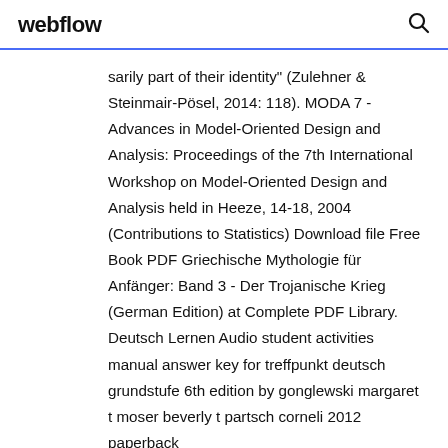webflow
sarily part of their identity" (Zulehner & Steinmair-Pösel, 2014: 118). MODA 7 - Advances in Model-Oriented Design and Analysis: Proceedings of the 7th International Workshop on Model-Oriented Design and Analysis held in Heeze, 14-18, 2004 (Contributions to Statistics) Download file Free Book PDF Griechische Mythologie für Anfänger: Band 3 - Der Trojanische Krieg (German Edition) at Complete PDF Library. Deutsch Lernen Audio student activities manual answer key for treffpunkt deutsch grundstufe 6th edition by gonglewski margaret t moser beverly t partsch corneli 2012 paperback